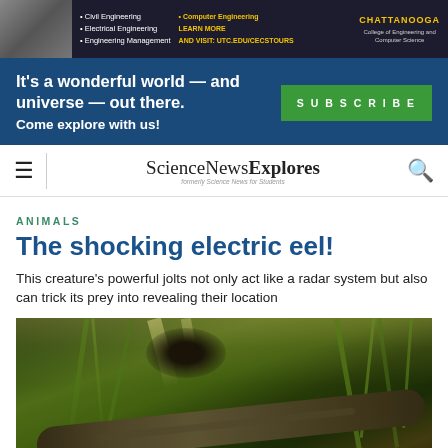[Figure (photo): University of Tennessee Chattanooga College of Engineering and Computer Science advertisement banner with students]
[Figure (infographic): Dark blue subscribe banner: 'It's a wonderful world — and universe — out there. Come explore with us!' with green SUBSCRIBE button]
ScienceNewsExplores — formerly Science News for Students
ANIMALS
The shocking electric eel!
This creature's powerful jolts not only act like a radar system but also can trick its prey into revealing their location
[Figure (photo): Underwater photograph of an electric eel swimming among aquatic plants in murky green-lit water]